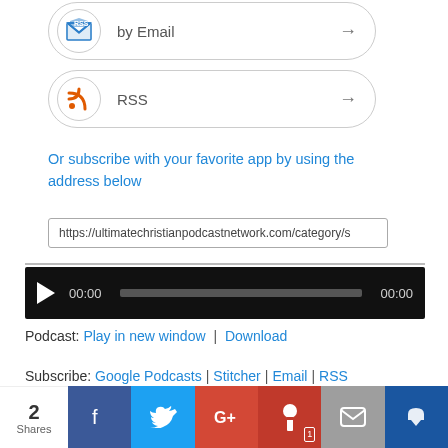[Figure (other): Subscribe by Email button with email icon and arrow]
[Figure (other): Subscribe by RSS button with RSS icon and arrow]
Or subscribe with your favorite app by using the address below
https://ultimatechristianpodcastnetwork.com/category/s
[Figure (other): Audio player with play button, 00:00 time, progress bar, and 00:00 duration]
Podcast: Play in new window | Download
Subscribe: Google Podcasts | Stitcher | Email | RSS
Related Posts
[Figure (infographic): Social sharing bar with 2 Shares count, Facebook, Twitter, Google+, Pinterest (1), Email, and crown icon buttons]